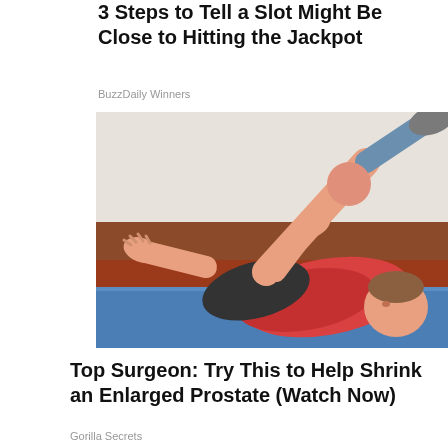3 Steps to Tell a Slot Might Be Close to Hitting the Jackpot
BuzzDaily Winners
[Figure (illustration): Illustration of a person lying on their back on a blue mat, wearing a red shirt and dark shorts, pulling one knee toward their chest as a stretching exercise. The background shows a brown wall and floor.]
Top Surgeon: Try This to Help Shrink an Enlarged Prostate (Watch Now)
Gorilla Secrets